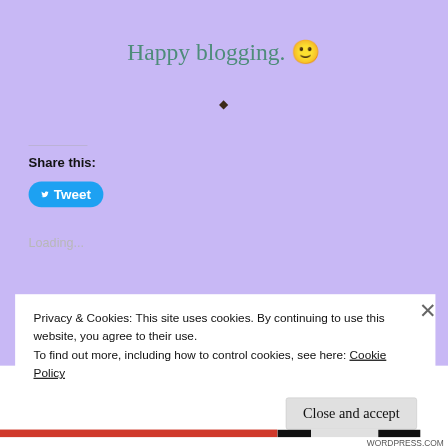Happy blogging. 🙂
♦
Share this:
[Figure (other): Twitter Tweet button with bird icon]
Loading…
Privacy & Cookies: This site uses cookies. By continuing to use this website, you agree to their use.
To find out more, including how to control cookies, see here: Cookie Policy
Close and accept